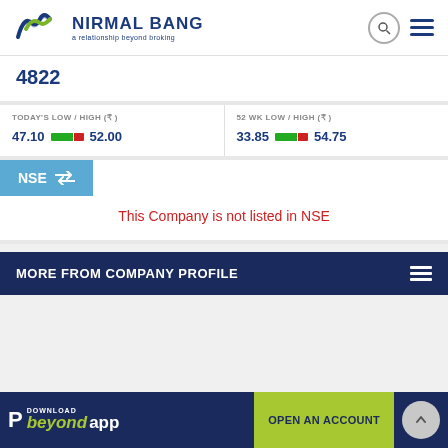[Figure (logo): Nirmal Bang logo with blue and green chevron/wave icon and text 'NIRMAL BANG a relationship beyond broking']
4822
TODAY'S LOW / HIGH (₹)
47.10   52.00
52 WK LOW / HIGH (₹)
33.85   54.75
NSE ⇄
This Company is not listed in NSE
MORE FROM COMPANY PROFILE
P  DOWNLOAD beyond app
OPEN AN ACCOUNT